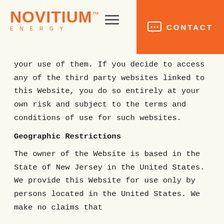Novitium Energy — Navigation header with contact button
your use of them. If you decide to access any of the third party websites linked to this Website, you do so entirely at your own risk and subject to the terms and conditions of use for such websites.
Geographic Restrictions
The owner of the Website is based in the State of New Jersey in the United States. We provide this Website for use only by persons located in the United States. We make no claims that